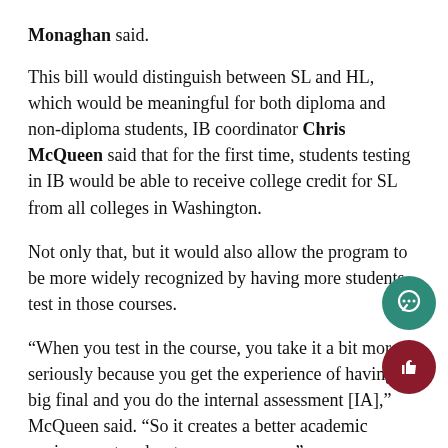Monaghan said.
This bill would distinguish between SL and HL, which would be meaningful for both diploma and non-diploma students, IB coordinator Chris McQueen said that for the first time, students testing in IB would be able to receive college credit for SL from all colleges in Washington.
Not only that, but it would also allow the program to be more widely recognized by having more students test in those courses.
“When you test in the course, you take it a bit more seriously because you get the experience of having a big final and you do the internal assessment [IA],” McQueen said. “So it creates a better academic environment and a stronger program.”
With the addition also noted that a greater number of